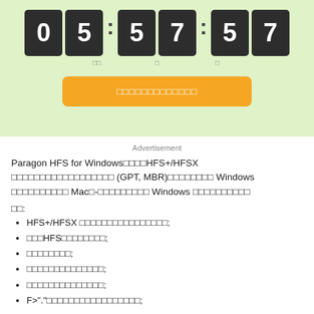[Figure (screenshot): Countdown timer showing 05:57:57 with dark digit blocks on light green background, and an orange button below]
Advertisement
Paragon HFS for Windows■■■■HFS+/HFSX ■■■■■■■■■■■■■■■■■■ (GPT, MBR)■■■■■■■■ Windows ■■■■■■■■■■ Mac■-■■■■■■■■■ Windows ■■■■■■■■■■■
■■:
HFS+/HFSX ■■■■■■■■■■■■■■■■■;
■■■HFS■■■■■■■■■;
■■■■■■■■■;
■■■■■■■■■■■■■■;
■■■■■■■■■■■■■■;
F>"."■■■■■■■■■■■■■■■■■;